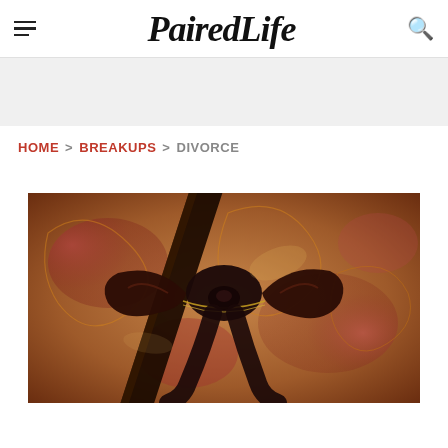PairedLife
HOME > BREAKUPS > DIVORCE
[Figure (photo): Close-up photo of decorative fabric with dark ribbons and ornate patterned textile in red, gold, and brown tones, appearing to show wedding rings wrapped in ribbon.]